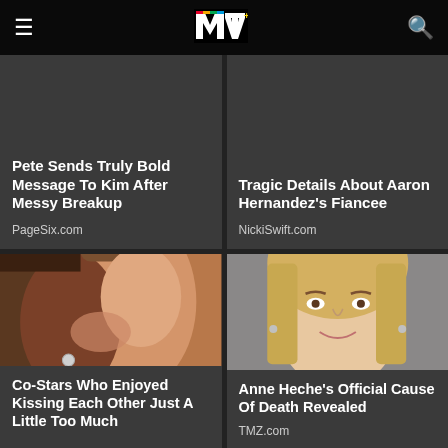[Figure (logo): MTV logo in top navigation bar]
Pete Sends Truly Bold Message To Kim After Messy Breakup
PageSix.com
Tragic Details About Aaron Hernandez's Fiancee
NickiSwift.com
[Figure (photo): Two people kissing closely]
Co-Stars Who Enjoyed Kissing Each Other Just A Little Too Much
[Figure (photo): Blonde woman smiling, Anne Heche]
Anne Heche's Official Cause Of Death Revealed
TMZ.com